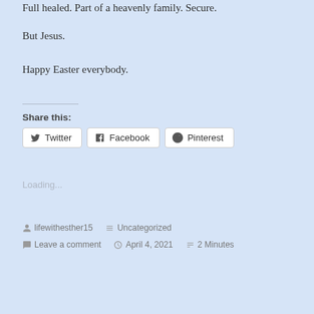Full healed. Part of a heavenly family. Secure.
But Jesus.
Happy Easter everybody.
Share this:
Twitter  Facebook  Pinterest
Loading...
lifewithesther15  Uncategorized  Leave a comment  April 4, 2021  2 Minutes